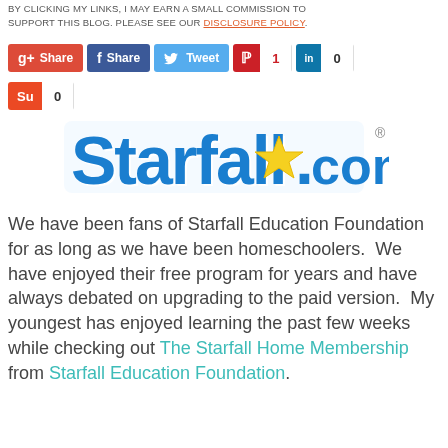BY CLICKING MY LINKS, I MAY EARN A SMALL COMMISSION TO SUPPORT THIS BLOG. PLEASE SEE OUR DISCLOSURE POLICY.
[Figure (screenshot): Social sharing buttons: Google+ Share, Facebook Share, Twitter Tweet, Pinterest (count: 1), LinkedIn (count: 0), StumbleUpon (count: 0)]
[Figure (logo): Starfall.com logo in blue cursive text with a yellow star, registered trademark symbol]
We have been fans of Starfall Education Foundation for as long as we have been homeschoolers.  We have enjoyed their free program for years and have always debated on upgrading to the paid version.  My youngest has enjoyed learning the past few weeks while checking out The Starfall Home Membership from Starfall Education Foundation.